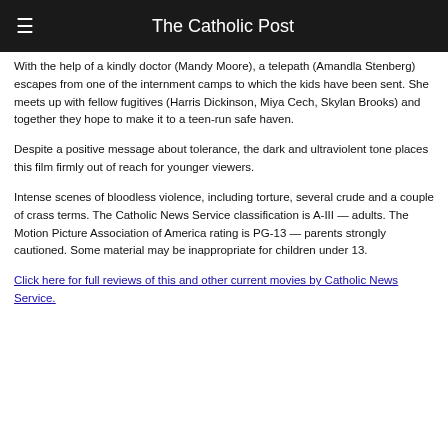The Catholic Post
With the help of a kindly doctor (Mandy Moore), a telepath (Amandla Stenberg) escapes from one of the internment camps to which the kids have been sent. She meets up with fellow fugitives (Harris Dickinson, Miya Cech, Skylan Brooks) and together they hope to make it to a teen-run safe haven.
Despite a positive message about tolerance, the dark and ultraviolent tone places this film firmly out of reach for younger viewers.
Intense scenes of bloodless violence, including torture, several crude and a couple of crass terms. The Catholic News Service classification is A-III — adults. The Motion Picture Association of America rating is PG-13 — parents strongly cautioned. Some material may be inappropriate for children under 13.
Click here for full reviews of this and other current movies by Catholic News Service.